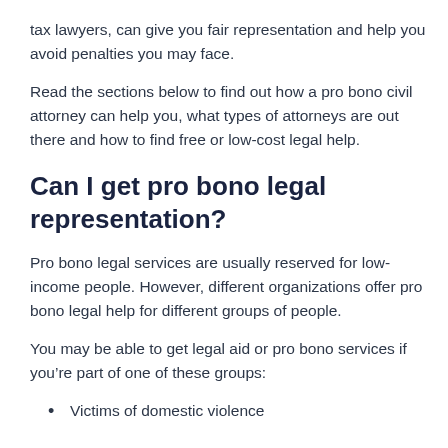tax lawyers, can give you fair representation and help you avoid penalties you may face.
Read the sections below to find out how a pro bono civil attorney can help you, what types of attorneys are out there and how to find free or low-cost legal help.
Can I get pro bono legal representation?
Pro bono legal services are usually reserved for low-income people. However, different organizations offer pro bono legal help for different groups of people.
You may be able to get legal aid or pro bono services if you’re part of one of these groups:
Victims of domestic violence